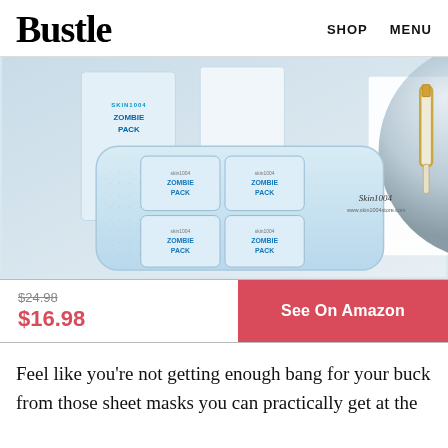Bustle   SHOP   MENU
[Figure (photo): Product photo of Skin1004 Zombie Pack sheet masks with packaging and a serum vial, on a light blue/white background.]
$24.98
$16.98
See On Amazon
Feel like you're not getting enough bang for your buck from those sheet masks you can practically get at the